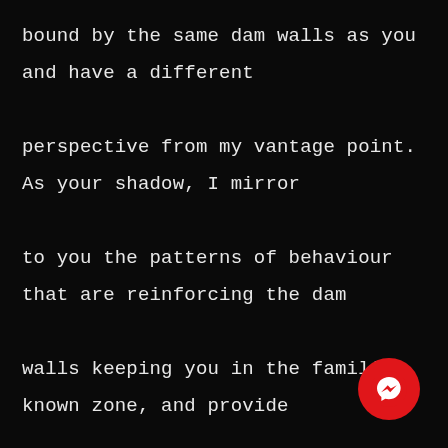bound by the same dam walls as you and have a different perspective from my vantage point. As your shadow, I mirror to you the patterns of behaviour that are reinforcing the dam walls keeping you in the familiar, known zone, and provide insight through your own reflections of seeing yourself. I am a fierce ally to have beside you, because I not only am unafraid to stand beside you facing the fears of the unknown, but I am there devotionally hunting them. As fierce I am at hunting fears I am that in compassion. My expression of compassion is